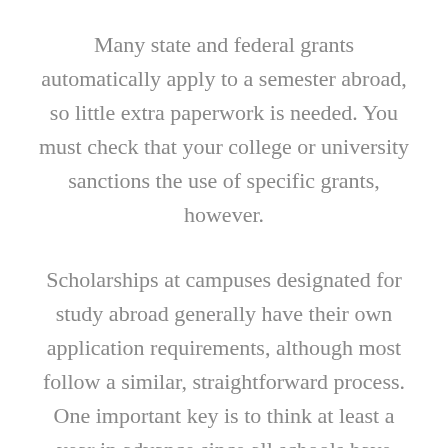Many state and federal grants automatically apply to a semester abroad, so little extra paperwork is needed. You must check that your college or university sanctions the use of specific grants, however.
Scholarships at campuses designated for study abroad generally have their own application requirements, although most follow a similar, straightforward process. One important key is to think at least a year in advance since all schools have different deadlines. Most schools will